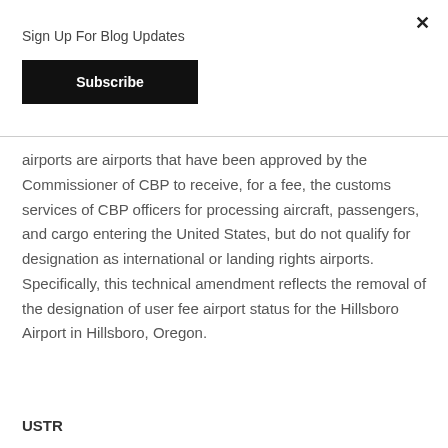×
Sign Up For Blog Updates
Subscribe
airports are airports that have been approved by the Commissioner of CBP to receive, for a fee, the customs services of CBP officers for processing aircraft, passengers, and cargo entering the United States, but do not qualify for designation as international or landing rights airports. Specifically, this technical amendment reflects the removal of the designation of user fee airport status for the Hillsboro Airport in Hillsboro, Oregon.
USTR